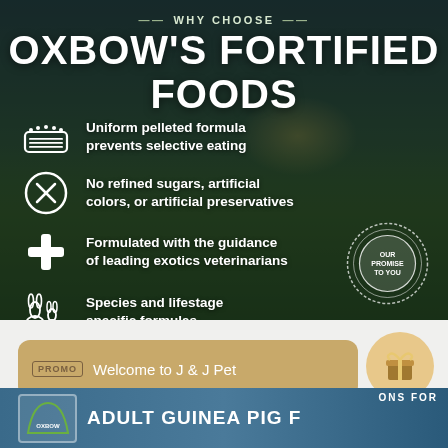[Figure (infographic): Oxbow Fortified Foods promotional infographic with dark background showing field/sky landscape. Features 'WHY CHOOSE OXBOW'S FORTIFIED FOODS' heading and four bullet points with icons: uniform pelleted formula prevents selective eating, no refined sugars/artificial colors/preservatives, formulated with guidance of leading exotics veterinarians, species and lifestage specific formulas. Includes 'Our Promise To You' circular badge at bottom right.]
PROMO  Welcome to J & J Pet
[Figure (infographic): Bottom strip showing Oxbow logo and partial text 'ADULT GUINEA PIG FOOD' with 'ONS FOR' visible]